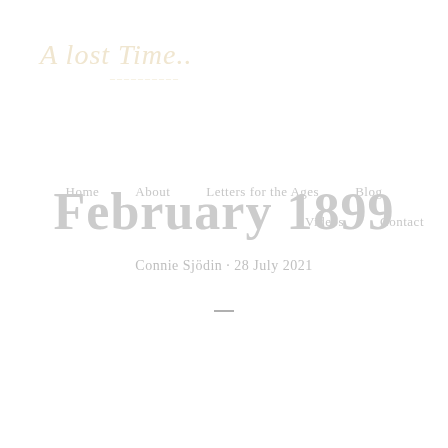[Figure (logo): Cursive script logo reading 'A Lost Time' in light cream/beige italic text]
Home   About   Letters for the Ages   Blog   Videos   Contact
February 1899
Connie Sjödin · 28 July 2021